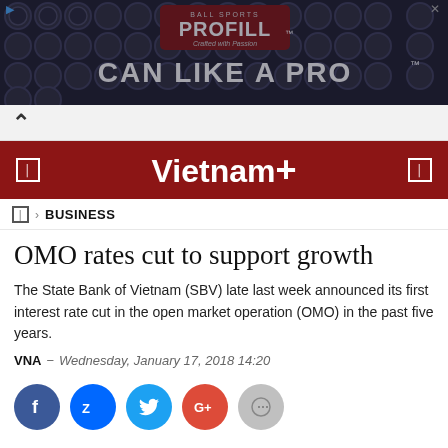[Figure (photo): Advertisement banner showing bottle caps background with 'PROFILL - CAN LIKE A PRO' text on dark background]
Vietnam+
BUSINESS
OMO rates cut to support growth
The State Bank of Vietnam (SBV) late last week announced its first interest rate cut in the open market operation (OMO) in the past five years.
VNA  -  Wednesday, January 17, 2018 14:20